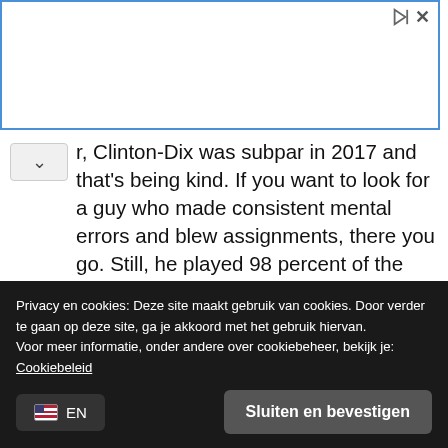[Figure (other): Advertisement placeholder box with blue border and ad control icons (play and close)]
r, Clinton-Dix was subpar in 2017 and that's being kind. If you want to look for a guy who made consistent mental errors and blew assignments, there you go. Still, he played 98 percent of the team's defensive snaps.

Telling was when Morgan Burnett was injured, the Packers gave the defensive headset to Clinton-Dix. He was so terrible and disorganized, they gave it to Martinez for the rest of the time Burnett was sidelined.
Privacy en cookies: Deze site maakt gebruik van cookies. Door verder te gaan op deze site, ga je akkoord met het gebruik hiervan.
Voor meer informatie, onder andere over cookiebeheer, bekijk je:
Cookiebeleid
Sluiten en bevestigen